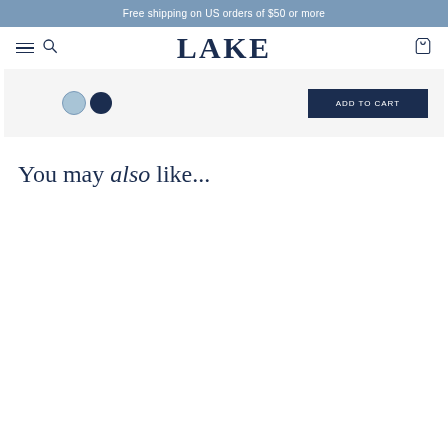Free shipping on US orders of $50 or more
LAKE
[Figure (screenshot): Partial product page snippet showing two color swatches (light blue and navy) and a dark navy 'Add to Cart' button on a light gray background]
You may also like...